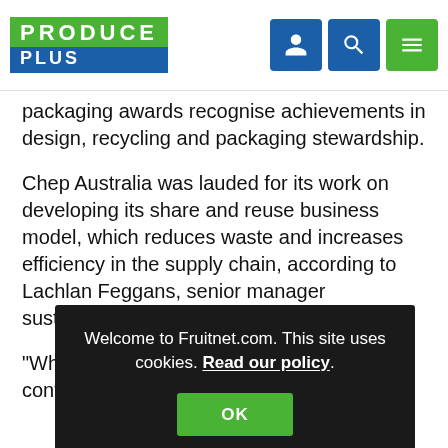PRODUCE PLUS
packaging awards recognise achievements in design, recycling and packaging stewardship.
Chep Australia was lauded for its work on developing its share and reuse business model, which reduces waste and increases efficiency in the supply chain, according to Lachlan Feggans, senior manager sustainability at Chep.
"When customers use our reusable plastic containers, bins and pallets instead of single-use packaging, they eliminate the need for raw materials. The more customers and the fuller the loads, the greater the efficiencies."
"It means our customers share and reuse our platforms, the greater the efficiencies and environmental benefits of our networks."
[Figure (screenshot): Cookie consent overlay: 'Welcome to Fruitnet.com. This site uses cookies. Read our policy.' with an OK button.]